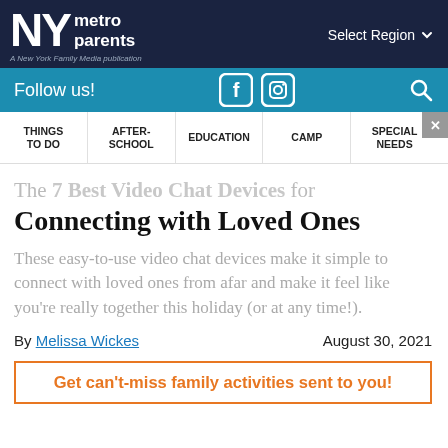NY metro parents — A New York Family Media publication | Select Region
Follow us! [Facebook] [Instagram] [Search]
THINGS TO DO | AFTER-SCHOOL | EDUCATION | CAMP | SPECIAL NEEDS
The 7 Best Video Chat Devices for Connecting with Loved Ones
These easy-to-use video chat devices make it simple to connect with loved ones from afar and make it feel like you're really together this holiday (or at any time!).
By Melissa Wickes    August 30, 2021
Get can't-miss family activities sent to you!